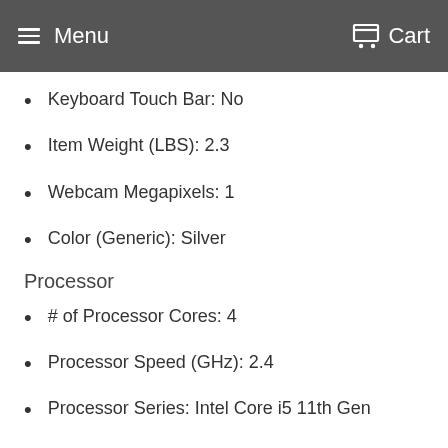Menu  Cart
Keyboard Touch Bar: No
Item Weight (LBS): 2.3
Webcam Megapixels: 1
Color (Generic): Silver
Processor
# of Processor Cores: 4
Processor Speed (GHz): 2.4
Processor Series: Intel Core i5 11th Gen
Processor Model Number: Intel Core i5-1135G7
Processor L3 Cache (MB): 8
Optane Memory (GB): 0
RAM